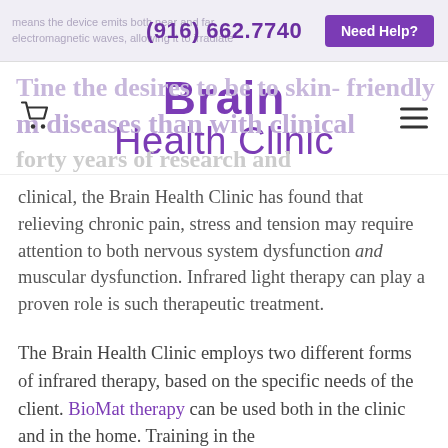(916) 662.7740  Need Help?
[Figure (logo): Brain Health Clinic logo with purple text, shopping cart icon on left, hamburger menu on right]
clinical, the Brain Health Clinic has found that relieving chronic pain, stress and tension may require attention to both nervous system dysfunction and muscular dysfunction. Infrared light therapy can play a proven role is such therapeutic treatment.
The Brain Health Clinic employs two different forms of infrared therapy, based on the specific needs of the client. BioMat therapy can be used both in the clinic and in the home. Training in the